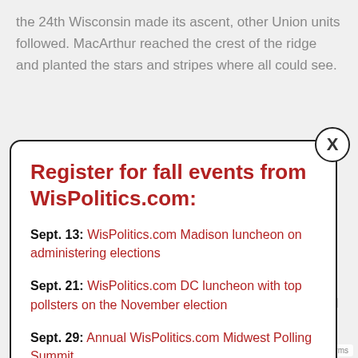the 24th Wisconsin made its ascent, other Union units followed. MacArthur reached the crest of the ridge and planted the stars and stripes where all could see.
Register for fall events from WisPolitics.com:
Sept. 13: WisPolitics.com Madison luncheon on administering elections
Sept. 21: WisPolitics.com DC luncheon with top pollsters on the November election
Sept. 29: Annual WisPolitics.com Midwest Polling Summit
Oct. 18: WisPolitics.com Madison luncheon on top legislative races
military governor of the Philippines from 1900-01, and special observer to the Japanese Army during Japan's...